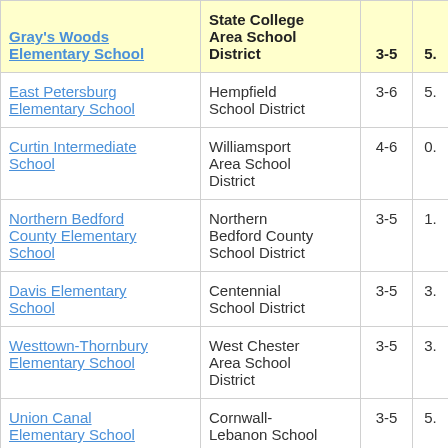| Gray's Woods Elementary School | State College Area School District | 3-5 | 5. |
| --- | --- | --- | --- |
| East Petersburg Elementary School | Hempfield School District | 3-6 | 5. |
| Curtin Intermediate School | Williamsport Area School District | 4-6 | 0. |
| Northern Bedford County Elementary School | Northern Bedford County School District | 3-5 | 1. |
| Davis Elementary School | Centennial School District | 3-5 | 3. |
| Westtown-Thornbury Elementary School | West Chester Area School District | 3-5 | 3. |
| Union Canal Elementary School | Cornwall-Lebanon School District | 3-5 | 5. |